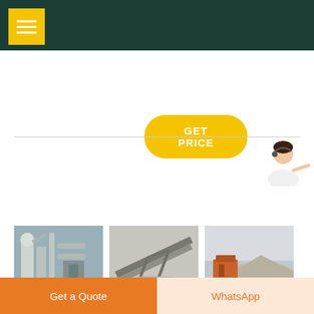[Figure (screenshot): Dark green navigation header bar with yellow hamburger menu icon button in top left]
[Figure (screenshot): Yellow rounded 'GET PRICE' button]
[Figure (photo): Industrial dust collection equipment / mill machinery photo]
[Figure (photo): Conveyor belt structure / industrial conveyor photo]
[Figure (photo): Mining crushing equipment with gravel/aggregate photo]
[Figure (illustration): Person illustration pointing with Free chat button widget]
Careers At Mines - Human Resources
[Figure (screenshot): Bottom action bar with 'Get a Quote' orange button and 'WhatsApp' peach button]